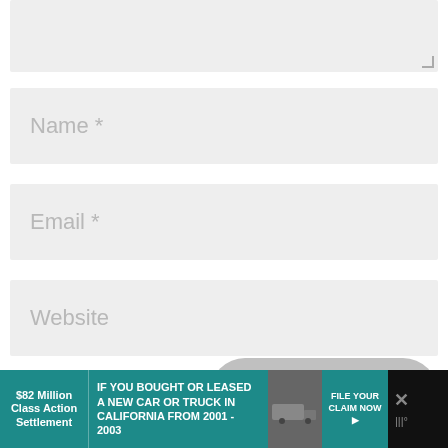[Figure (screenshot): Textarea input field (comment box) with resize handle at bottom right, light gray background]
Name *
Email *
Website
[Figure (screenshot): reCAPTCHA widget with checkbox labeled 'I'm not a robot', reCAPTCHA logo and 'Privacy - Terms' text]
[Figure (screenshot): Submit Comment button, gray rounded pill shape with white text]
[Figure (screenshot): Advertisement banner: '$82 Million Class Action Settlement - IF YOU BOUGHT OR LEASED A NEW CAR OR TRUCK IN CALIFORNIA FROM 2001 - 2003 - FILE YOUR CLAIM NOW']